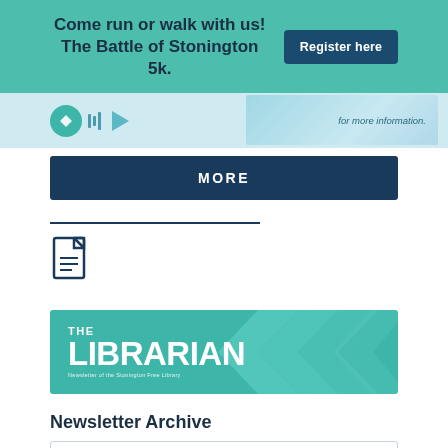Come run or walk with us! The Battle of Stonington 5k. Register here
[Figure (screenshot): Partial image strip with icons and sky/cloud imagery, with text 'for more information.']
MORE
[Figure (illustration): Horizontal rule line followed by a document/file icon]
[Figure (illustration): The Librarian newsletter banner with teal background and chevron pattern]
Newsletter Archive
SUMMER READING FOR ALL AGES